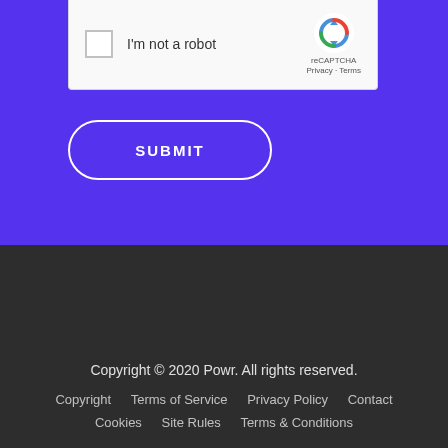[Figure (screenshot): reCAPTCHA widget showing checkbox 'I'm not a robot' with reCAPTCHA logo and Privacy/Terms links]
SUBMIT
Copyright © 2020 Powr. All rights reserved.
Copyright  Terms of Service  Privacy Policy  Contact
Cookies  Site Rules  Terms & Conditions